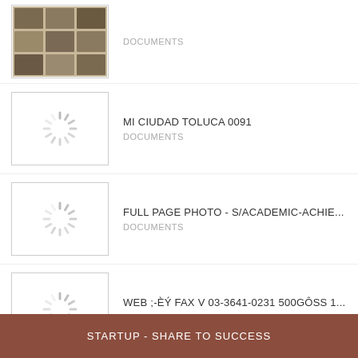[Figure (screenshot): Thumbnail showing a grid of small photos]
DOCUMENTS
[Figure (other): Loading spinner thumbnail]
MI CIUDAD TOLUCA 0091
DOCUMENTS
[Figure (other): Loading spinner thumbnail]
FULL PAGE PHOTO - S/ACADEMIC-ACHIE...
DOCUMENTS
[Figure (other): Loading spinner thumbnail]
WEB ;-ÈÝ FAX V 03-3641-0231 500GÔSS 1...
DOCUMENTS
View More
STARTUP - SHARE TO SUCCESS